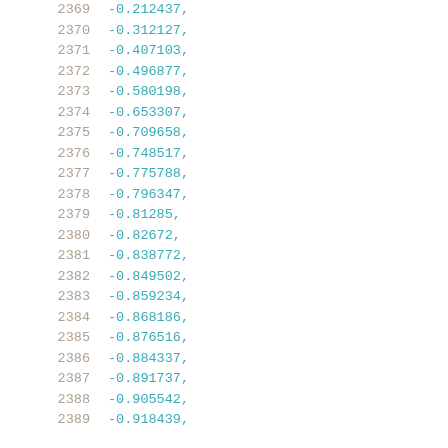2369   -0.212437,
2370   -0.312127,
2371   -0.407103,
2372   -0.496877,
2373   -0.580198,
2374   -0.653307,
2375   -0.709658,
2376   -0.748517,
2377   -0.775788,
2378   -0.796347,
2379   -0.81285,
2380   -0.82672,
2381   -0.838772,
2382   -0.849502,
2383   -0.859234,
2384   -0.868186,
2385   -0.876516,
2386   -0.884337,
2387   -0.891737,
2388   -0.905542,
2389   -0.918439,